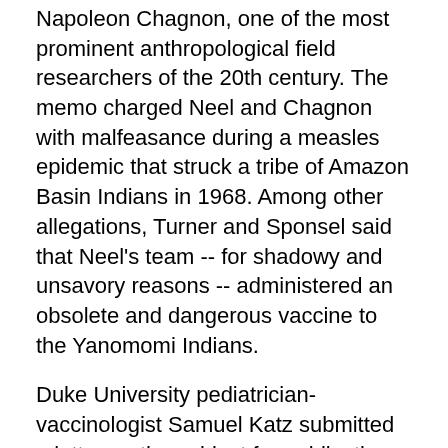Napoleon Chagnon, one of the most prominent anthropological field researchers of the 20th century. The memo charged Neel and Chagnon with malfeasance during a measles epidemic that struck a tribe of Amazon Basin Indians in 1968. Among other allegations, Turner and Sponsel said that Neel's team -- for shadowy and unsavory reasons -- administered an obsolete and dangerous vaccine to the Yanomomi Indians.
Duke University pediatrician-vaccinologist Samuel Katz submitted a letter on the subject for publication in Time Magazine and circulated it widely in the academic community. Katz affirmed the vaccine's safety and refuted the memo's shocking claims. Use of the vaccine "in an attempt to halt an epidemic was a justifiable, proven and valid approach," Katz wrote. "In no way could it initiate or exacerbate an epidemic (as Turner and Sponsel originally charged). Continued circulation of these charges is not only unwarranted, but truly egregious."
On Thursday, Turner circulated a surprisingly